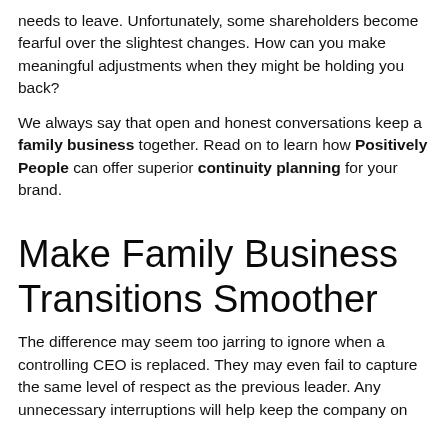needs to leave. Unfortunately, some shareholders become fearful over the slightest changes. How can you make meaningful adjustments when they might be holding you back?
We always say that open and honest conversations keep a family business together. Read on to learn how Positively People can offer superior continuity planning for your brand.
Make Family Business Transitions Smoother
The difference may seem too jarring to ignore when a controlling CEO is replaced. They may even fail to capture the same level of respect as the previous leader. Any unnecessary interruptions will help keep the company on